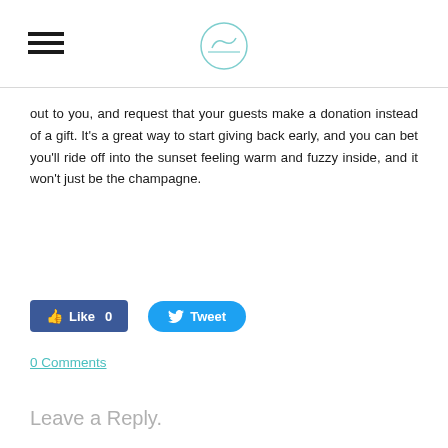[hamburger menu icon] [circular logo]
out to you, and request that your guests make a donation instead of a gift. It's a great way to start giving back early, and you can bet you'll ride off into the sunset feeling warm and fuzzy inside, and it won't just be the champagne.
[Figure (other): Facebook Like button (blue, count 0) and Twitter Tweet button (blue, rounded)]
0 Comments
Leave a Reply.